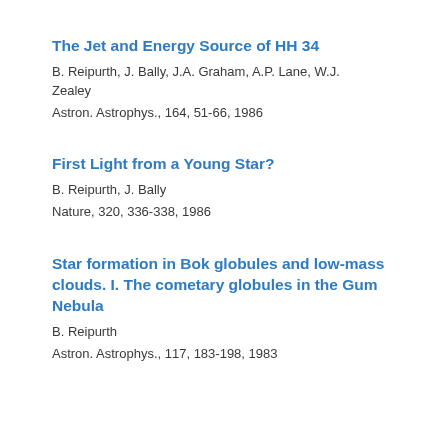The Jet and Energy Source of HH 34
B. Reipurth, J. Bally, J.A. Graham, A.P. Lane, W.J. Zealey
Astron. Astrophys., 164, 51-66, 1986
First Light from a Young Star?
B. Reipurth, J. Bally
Nature, 320, 336-338, 1986
Star formation in Bok globules and low-mass clouds. I. The cometary globules in the Gum Nebula
B. Reipurth
Astron. Astrophys., 117, 183-198, 1983